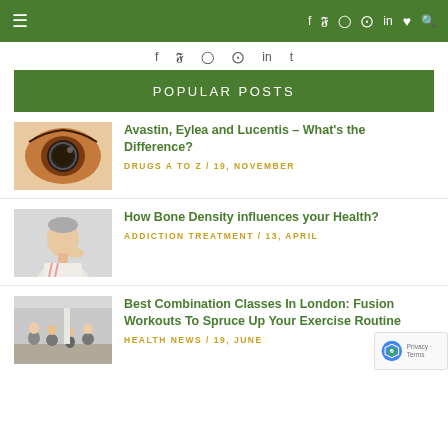Navigation bar with hamburger menu and social icons
f  y  ◎  ⊕  in  t
POPULAR POSTS
[Figure (photo): Close-up of an eye with a camera lens reflection]
Avastin, Eylea and Lucentis – What's the Difference?
DRUGS A TO Z / 19, NOVEMBER
[Figure (photo): Elderly man holding the back of his neck in pain]
How Bone Density influences your Health?
ADDICTION TREATMENT / 13, APRIL
[Figure (photo): Group fitness class in a gym studio]
Best Combination Classes In London: Fusion Workouts To Spruce Up Your Exercise Routine
HEALTH NEWS / 19, JUNE